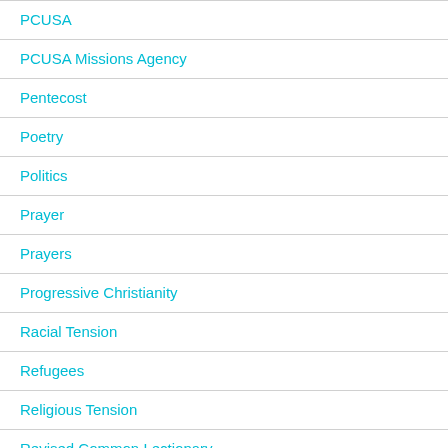PCUSA
PCUSA Missions Agency
Pentecost
Poetry
Politics
Prayer
Prayers
Progressive Christianity
Racial Tension
Refugees
Religious Tension
Revised Common Lectionary
Evangelism